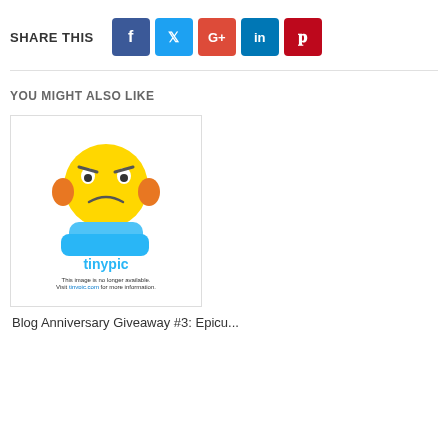SHARE THIS
[Figure (infographic): Social share buttons for Facebook, Twitter, Google+, LinkedIn, Pinterest]
YOU MIGHT ALSO LIKE
[Figure (photo): Tinypic placeholder image - angry emoji with text: This image is no longer available. Visit tinypic.com for more information.]
Blog Anniversary Giveaway #3: Epicu...